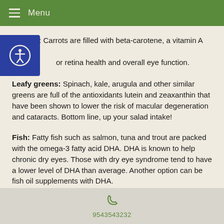Menu
Carrots: Carrots are filled with beta-carotene, a vitamin A that is or retina health and overall eye function.
Leafy greens: Spinach, kale, arugula and other similar greens are full of the antioxidants lutein and zeaxanthin that have been shown to lower the risk of macular degeneration and cataracts. Bottom line, up your salad intake!
Fish: Fatty fish such as salmon, tuna and trout are packed with the omega-3 fatty acid DHA. DHA is known to help chronic dry eyes. Those with dry eye syndrome tend to have a lower level of DHA than average. Another option can be fish oil supplements with DHA.
9543543232